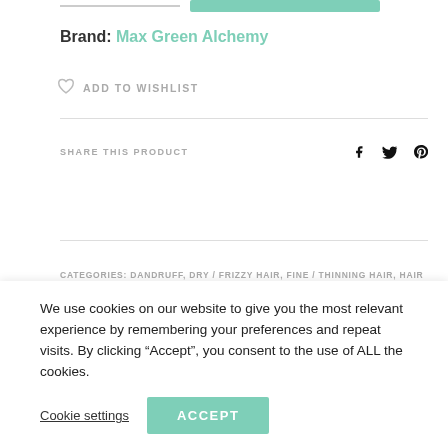Brand: Max Green Alchemy
ADD TO WISHLIST
SHARE THIS PRODUCT
CATEGORIES: DANDRUFF, DRY / FRIZZY HAIR, FINE / THINNING HAIR, HAIR CARE, HAIR CONCERNS, HAIR STYLING, MAX GREEN ALCHEMY, OILY SCALP & HAIR, SENSITIVE SCALP, VEGAN FRIENDLY
We use cookies on our website to give you the most relevant experience by remembering your preferences and repeat visits. By clicking “Accept”, you consent to the use of ALL the cookies.
Cookie settings
ACCEPT